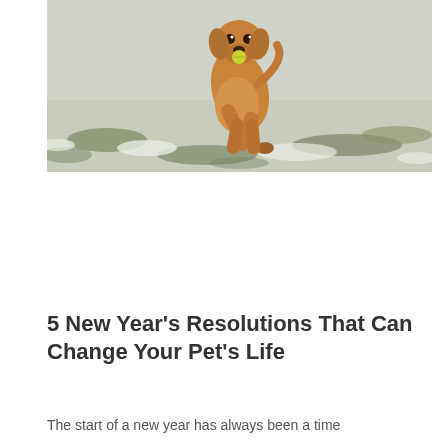[Figure (photo): A golden/yellow Labrador retriever running toward the camera on a snow-dusted grass field, carrying a tennis ball in its mouth. The dog is mid-stride with front paws off the ground.]
5 New Year’s Resolutions That Can Change Your Pet’s Life
The start of a new year has always been a time